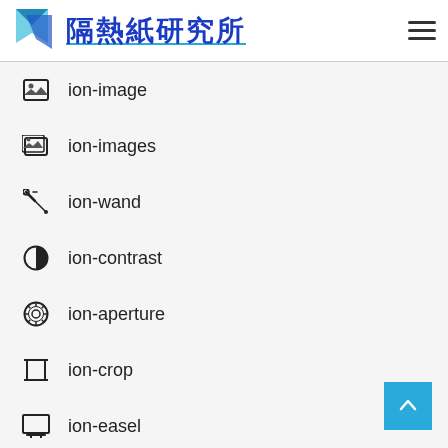隔熱紙研究所
ion-image
ion-images
ion-wand
ion-contrast
ion-aperture
ion-crop
ion-easel